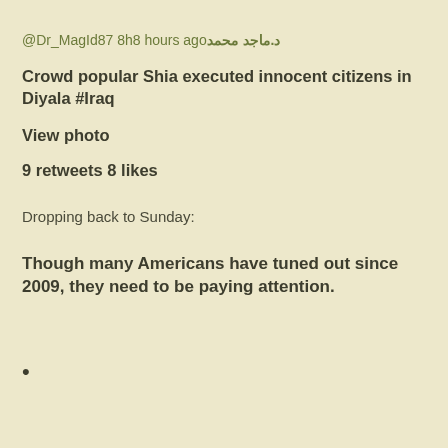د.ماجد محمد @Dr_MagId87 8h8 hours ago
Crowd popular Shia executed innocent citizens in Diyala #Iraq
View photo
9 retweets 8 likes
Dropping back to Sunday:
Though many Americans have tuned out since 2009, they need to be paying attention.
•